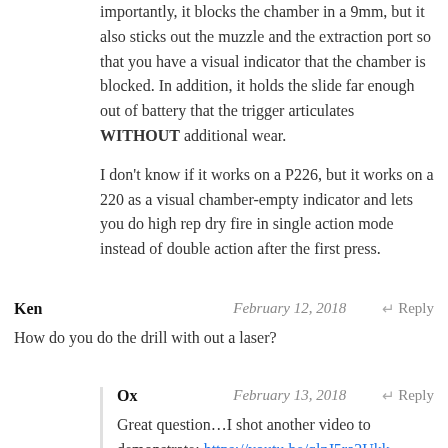importantly, it blocks the chamber in a 9mm, but it also sticks out the muzzle and the extraction port so that you have a visual indicator that the chamber is blocked. In addition, it holds the slide far enough out of battery that the trigger articulates WITHOUT additional wear.
I don't know if it works on a P226, but it works on a 220 as a visual chamber-empty indicator and lets you do high rep dry fire in single action mode instead of double action after the first press.
Ken   February 12, 2018   ↵ Reply
How do you do the drill with out a laser?
Ox   February 13, 2018   ↵ Reply
Great question…I shot another video to demonstrate: https://youtu.be/qlzJ5ra2Ukk